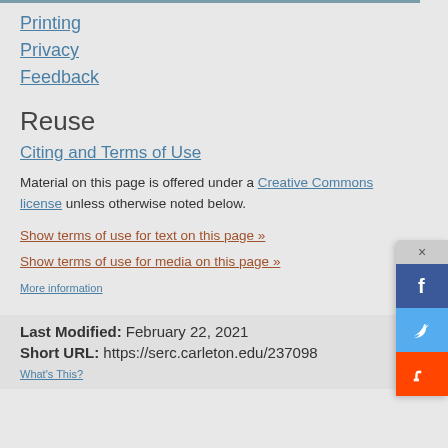Printing
Privacy
Feedback
Reuse
Citing and Terms of Use
Material on this page is offered under a Creative Commons license unless otherwise noted below.
Show terms of use for text on this page »
Show terms of use for media on this page »
More information
Last Modified: February 22, 2021
Short URL: https://serc.carleton.edu/237098
What's This?